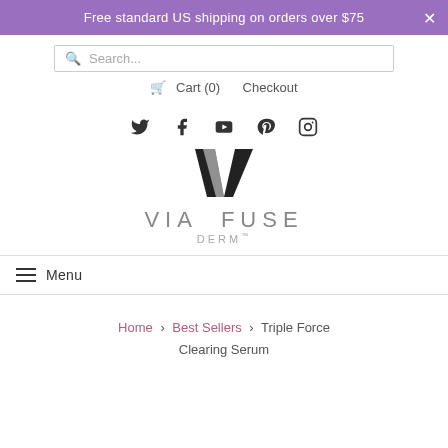Free standard US shipping on orders over $75
Search...
Cart (0)  Checkout
[Figure (other): Social media icons: Twitter, Facebook, YouTube, Pinterest, Instagram]
[Figure (logo): Via Fuse Derm logo — black V chevron mark above VIA FUSE DERM text]
Menu
Home > Best Sellers > Triple Force Clearing Serum